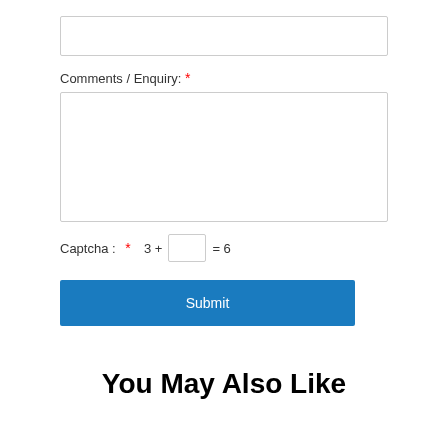[Figure (other): Empty text input field (form element)]
Comments / Enquiry: *
[Figure (other): Large textarea input field for comments/enquiry]
Captcha : * 3 + [ ] = 6
[Figure (other): Blue Submit button]
You May Also Like